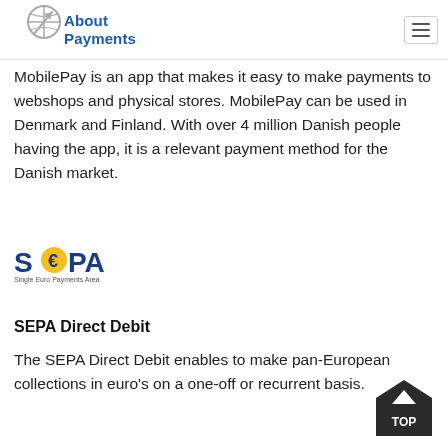About Payments
MobilePay is an app that makes it easy to make payments to webshops and physical stores. MobilePay can be used in Denmark and Finland. With over 4 million Danish people having the app, it is a relevant payment method for the Danish market.
[Figure (logo): SEPA Single Euro Payments Area logo — blue text 'SEPA' with a yellow euro symbol replacing the 'E', and small subtitle text.]
SEPA Direct Debit
The SEPA Direct Debit enables to make pan-European collections in euro's on a one-off or recurrent basis.